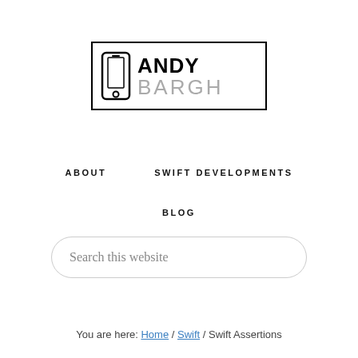[Figure (logo): Andy Bargh logo with phone icon and text ANDY BARGH in a bordered rectangle]
ABOUT
SWIFT DEVELOPMENTS
BLOG
Search this website
You are here: Home / Swift / Swift Assertions